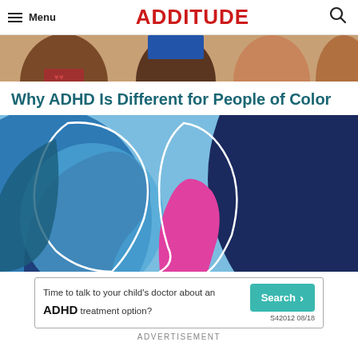Menu | ADDITUDE | [search icon]
[Figure (illustration): Partial top banner showing illustrated diverse people faces cropped at the top of the page]
Why ADHD Is Different for People of Color
[Figure (illustration): Stylized illustration of multiple silhouetted faces in shades of dark blue, teal, light blue, and pink/magenta with white outline strokes, representing diversity]
[Figure (infographic): Advertisement banner: 'Time to talk to your child's doctor about an ADHD treatment option?' with a Search button and code S42012 08/18]
ADVERTISEMENT